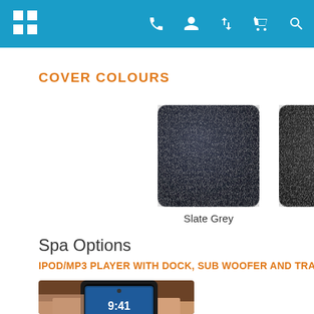Navigation bar with logo and icons
COVER COLOURS
[Figure (photo): Slate Grey leather texture swatch, dark navy/grey color, rounded rectangle]
Slate Grey
[Figure (photo): Partially visible dark grey leather texture swatch at right edge]
Spa Options
IPOD/MP3 PLAYER WITH DOCK, SUB WOOFER AND TRANSDU...
[Figure (photo): Hand holding a smartphone showing time 9:41]